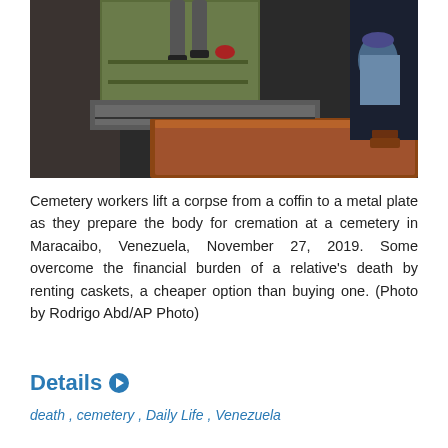[Figure (photo): Cemetery workers lift a corpse from a coffin to a metal plate, with a wooden casket visible in the foreground and industrial cremation equipment in the background, at a cemetery in Maracaibo, Venezuela.]
Cemetery workers lift a corpse from a coffin to a metal plate as they prepare the body for cremation at a cemetery in Maracaibo, Venezuela, November 27, 2019. Some overcome the financial burden of a relative's death by renting caskets, a cheaper option than buying one. (Photo by Rodrigo Abd/AP Photo)
Details ▶
death , cemetery , Daily Life , Venezuela